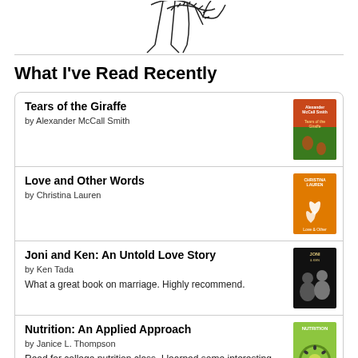[Figure (illustration): Line drawing illustration of a person or figure, partially visible at top of page]
What I've Read Recently
Tears of the Giraffe by Alexander McCall Smith
Love and Other Words by Christina Lauren
Joni and Ken: An Untold Love Story by Ken Tada. What a great book on marriage. Highly recommend.
Nutrition: An Applied Approach by Janice L. Thompson. Read for college nutrition class. I learned some interesting